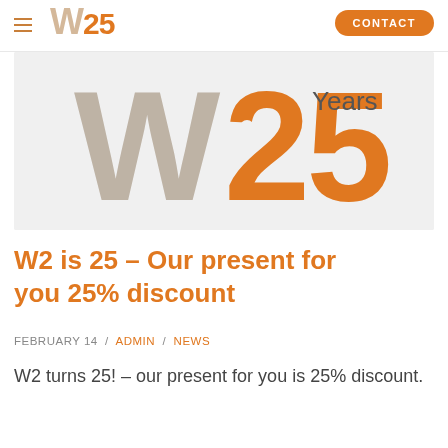W25 Years — CONTACT (navigation bar)
[Figure (logo): W2 25 Years anniversary logo — large stylized 'W' in grey-tan and '25' in orange with 'Years' text on a light grey banner background]
W2 is 25 – Our present for you 25% discount
FEBRUARY 14 / ADMIN / NEWS
W2 turns 25! – our present for you is 25% discount.